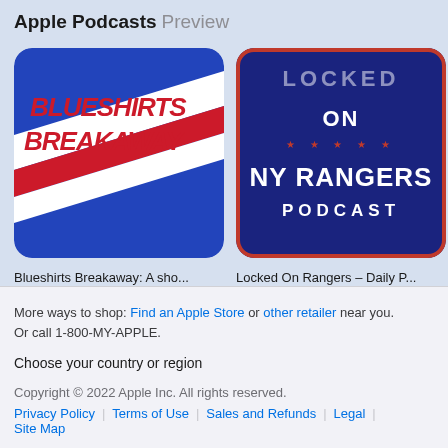Apple Podcasts Preview
[Figure (screenshot): Podcast artwork for Blueshirts Breakaway — blue background with diagonal red and white stripes and red italic text 'BLUESHIRTS BREAKAWAY']
Blueshirts Breakaway: A sho...
Ryan Mead and Greg Kaplan
[Figure (screenshot): Podcast artwork for Locked On NY Rangers — dark navy blue background with red border, 'ON' logo at top, text 'NY RANGERS PODCAST' in white bold letters with red star dividers]
Locked On Rangers - Daily P...
Locked On Podcast Network, ...
[Figure (screenshot): Partial podcast artwork visible on right edge — light blue/white background with partial text and graphic]
32...
Sp...
More ways to shop: Find an Apple Store or other retailer near you. Or call 1-800-MY-APPLE.
Choose your country or region
Copyright © 2022 Apple Inc. All rights reserved.
Privacy Policy | Terms of Use | Sales and Refunds | Legal | Site Map